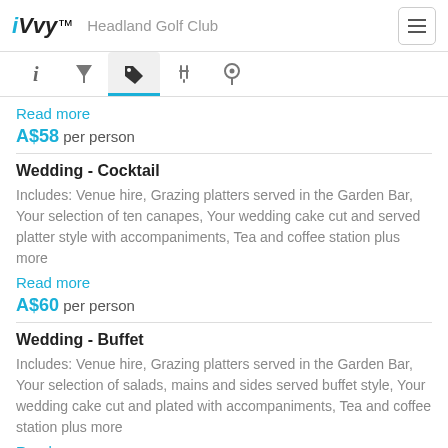iVvy — Headland Golf Club
Read more
A$58 per person
Wedding - Cocktail
Includes: Venue hire, Grazing platters served in the Garden Bar, Your selection of ten canapes, Your wedding cake cut and served platter style with accompaniments, Tea and coffee station plus more
Read more
A$60 per person
Wedding - Buffet
Includes: Venue hire, Grazing platters served in the Garden Bar, Your selection of salads, mains and sides served buffet style, Your wedding cake cut and plated with accompaniments, Tea and coffee station plus more
Read more